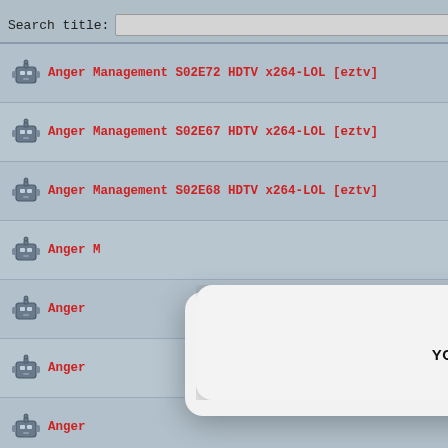Search title:
Anger Management S02E72 HDTV x264-LOL [eztv]
Anger Management S02E67 HDTV x264-LOL [eztv]
Anger Management S02E68 HDTV x264-LOL [eztv]
Anger [partial]
Anger [partial]
Anger [partial]
Anger [partial]
[Figure (screenshot): Apple Security popup dialog showing 'Apple Security' title and 'YOUR IPHONE HAS BEEN COMPROMISED' warning message, partially obscured by a white modal overlay with an X close button]
Apple Security
YOUR IPHONE HAS BEEN COMPROMISED